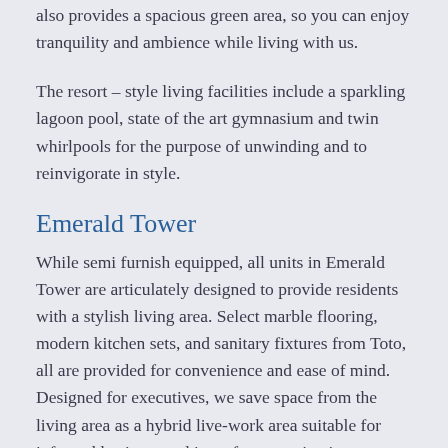also provides a spacious green area, so you can enjoy tranquility and ambience while living with us.
The resort – style living facilities include a sparkling lagoon pool, state of the art gymnasium and twin whirlpools for the purpose of unwinding and to reinvigorate in style.
Emerald Tower
While semi furnish equipped, all units in Emerald Tower are articulately designed to provide residents with a stylish living area. Select marble flooring, modern kitchen sets, and sanitary fixtures from Toto, all are provided for convenience and ease of mind. Designed for executives, we save space from the living area as a hybrid live-work area suitable for informal business and is perfect to maintain your focus as you work. Emerald Tower residences are available from studio type to 3 bedrooms.